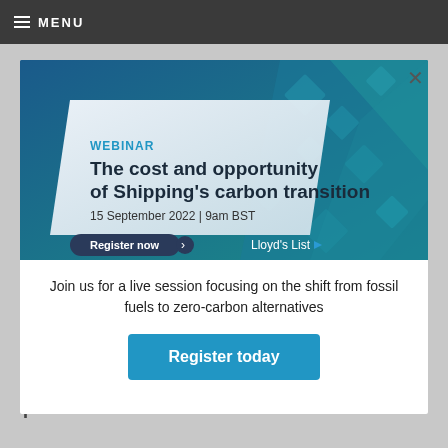MENU
[Figure (screenshot): Webinar banner for 'The cost and opportunity of Shipping's carbon transition' - Lloyd's List webinar on 15 September 2022 at 9am BST. Blue geometric background with white diagonal panel. Register now button with arrow. Lloyd's List logo bottom right.]
Join us for a live session focusing on the shift from fossil fuels to zero-carbon alternatives
Register today
26 Apr 2021